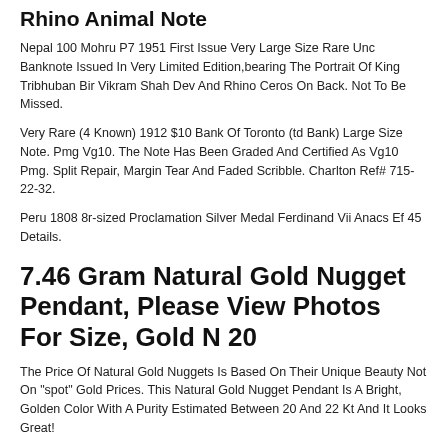Rhino Animal Note
Nepal 100 Mohru P7 1951 First Issue Very Large Size Rare Unc Banknote Issued In Very Limited Edition,bearing The Portrait Of King Tribhuban Bir Vikram Shah Dev And Rhino Ceros On Back. Not To Be Missed.
Very Rare (4 Known) 1912 $10 Bank Of Toronto (td Bank) Large Size Note. Pmg Vg10. The Note Has Been Graded And Certified As Vg10 Pmg. Split Repair, Margin Tear And Faded Scribble. Charlton Ref# 715-22-32.
Peru 1808 8r-sized Proclamation Silver Medal Ferdinand Vii Anacs Ef 45 Details.
7.46 Gram Natural Gold Nugget Pendant, Please View Photos For Size, Gold N 20
The Price Of Natural Gold Nuggets Is Based On Their Unique Beauty Not On "spot" Gold Prices. This Natural Gold Nugget Pendant Is A Bright, Golden Color With A Purity Estimated Between 20 And 22 Kt And It Looks Great!
1896 $1 Fr 224 Large Size Silver Certificate- Pcgs 20-very Fine. 1-the